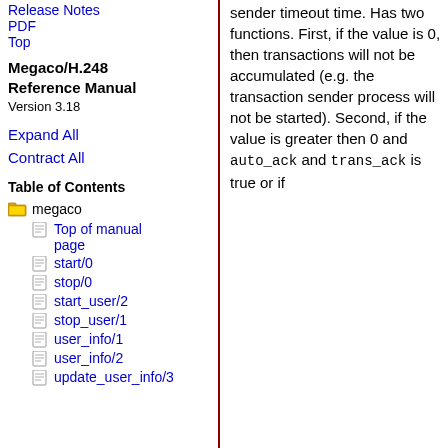Release Notes
PDF
Top
Megaco/H.248 Reference Manual
Version 3.18
Expand All
Contract All
Table of Contents
megaco
Top of manual page
start/0
stop/0
start_user/2
stop_user/1
user_info/1
user_info/2
update_user_info/3
sender timeout time. Has two functions. First, if the value is 0, then transactions will not be accumulated (e.g. the transaction sender process will not be started). Second, if the value is greater then 0 and auto_ack and trans_ack is true or if